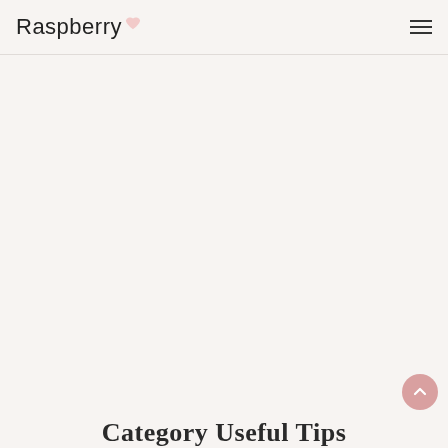Raspberry
Category Useful Tips